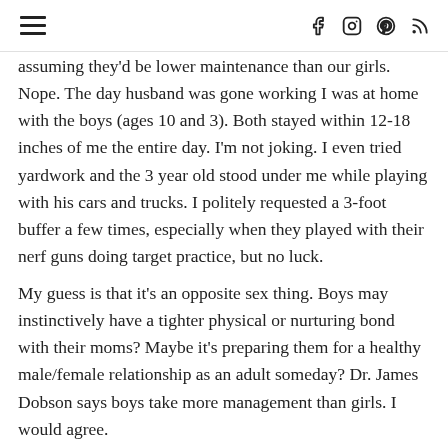☰  f  ◎  ⓟ  ⊃
assuming they'd be lower maintenance than our girls. Nope. The day husband was gone working I was at home with the boys (ages 10 and 3). Both stayed within 12-18 inches of me the entire day. I'm not joking. I even tried yardwork and the 3 year old stood under me while playing with his cars and trucks. I politely requested a 3-foot buffer a few times, especially when they played with their nerf guns doing target practice, but no luck.
My guess is that it's an opposite sex thing. Boys may instinctively have a tighter physical or nurturing bond with their moms? Maybe it's preparing them for a healthy male/female relationship as an adult someday? Dr. James Dobson says boys take more management than girls. I would agree.